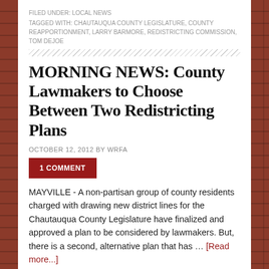FILED UNDER: LOCAL NEWS
TAGGED WITH: CHAUTAUQUA COUNTY LEGISLATURE, COUNTY REAPPORTIONMENT, LARRY BARMORE, REDISTRICTING COMMISSION, TOM DEJOE
MORNING NEWS: County Lawmakers to Choose Between Two Redistricting Plans
OCTOBER 12, 2012 BY WRFA
1 COMMENT
MAYVILLE - A non-partisan group of county residents charged with drawing new district lines for the Chautauqua County Legislature have finalized and approved a plan to be considered by lawmakers. But, there is a second, alternative plan that has … [Read more...]